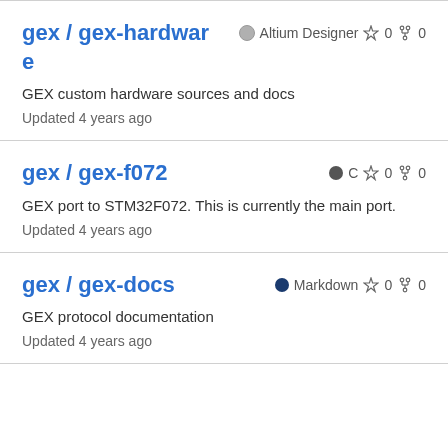gex / gex-hardware — Altium Designer ☆ 0 fork 0 — GEX custom hardware sources and docs — Updated 4 years ago
gex / gex-f072 — C ☆ 0 fork 0 — GEX port to STM32F072. This is currently the main port. — Updated 4 years ago
gex / gex-docs — Markdown ☆ 0 fork 0 — GEX protocol documentation — Updated 4 years ago